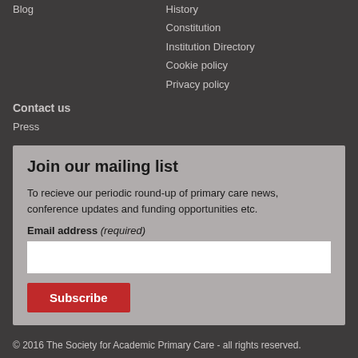Blog
History
Constitution
Institution Directory
Cookie policy
Privacy policy
Contact us
Press
Join our mailing list
To recieve our periodic round-up of primary care news, conference updates and funding opportunities etc.
Email address (required)
© 2016 The Society for Academic Primary Care - all rights reserved.